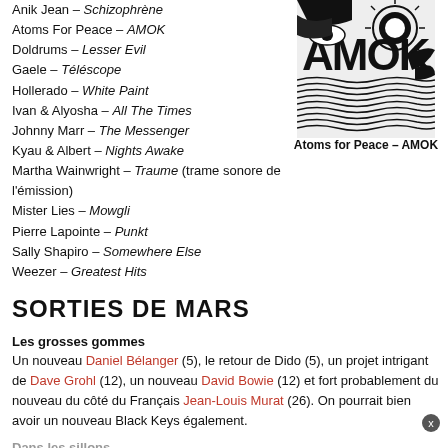Anik Jean – Schizophrène
Atoms For Peace – AMOK
Doldrums – Lesser Evil
Gaele – Téléscope
Hollerado – White Paint
Ivan & Alyosha – All The Times
Johnny Marr – The Messenger
Kyau & Albert – Nights Awake
Martha Wainwright – Traume (trame sonore de l'émission)
Mister Lies – Mowgli
Pierre Lapointe – Punkt
Sally Shapiro – Somewhere Else
Weezer – Greatest Hits
[Figure (illustration): Black and white album art for Atoms for Peace AMOK]
Atoms for Peace – AMOK
SORTIES DE MARS
Les grosses gommes
Un nouveau Daniel Bélanger (5), le retour de Dido (5), un projet intrigant de Dave Grohl (12), un nouveau David Bowie (12) et fort probablement du nouveau du côté du Français Jean-Louis Murat (26). On pourrait bien avoir un nouveau Black Keys également.
Dans les sillons
La dream pop de Youth Lagoon (5), nouvelle dose de Kate Nash (5),